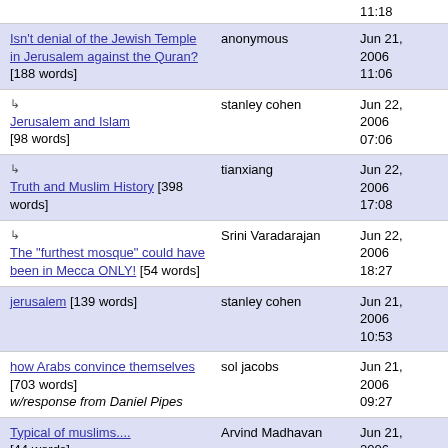| Title | Author | Date |
| --- | --- | --- |
| [top partial] 11:18 |  | 11:18 |
| Isn't denial of the Jewish Temple in Jerusalem against the Quran? [188 words] | anonymous | Jun 21, 2006 11:06 |
| ↳ Jerusalem and Islam [98 words] | stanley cohen | Jun 22, 2006 07:06 |
| ↳ Truth and Muslim History [398 words] | tianxiang | Jun 22, 2006 17:08 |
| ↳ The "furthest mosque" could have been in Mecca ONLY! [54 words] | Srini Varadarajan | Jun 22, 2006 18:27 |
| jerusalem [139 words] | stanley cohen | Jun 21, 2006 10:53 |
| how Arabs convince themselves [703 words] w/response from Daniel Pipes | sol jacobs | Jun 21, 2006 09:27 |
| Typical of muslims.... [44 words] | Arvind Madhavan | Jun 21, 2006 |